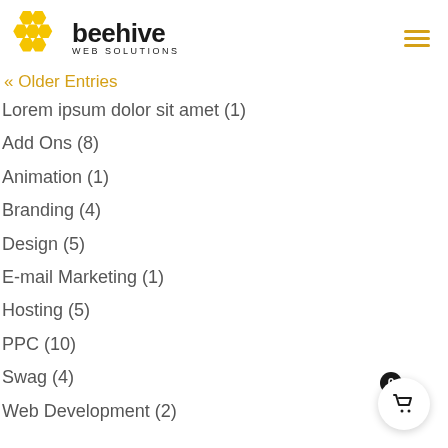beehive WEB SOLUTIONS
« Older Entries
Lorem ipsum dolor sit amet (1)
Add Ons (8)
Animation (1)
Branding (4)
Design (5)
E-mail Marketing (1)
Hosting (5)
PPC (10)
Swag (4)
Web Development (2)